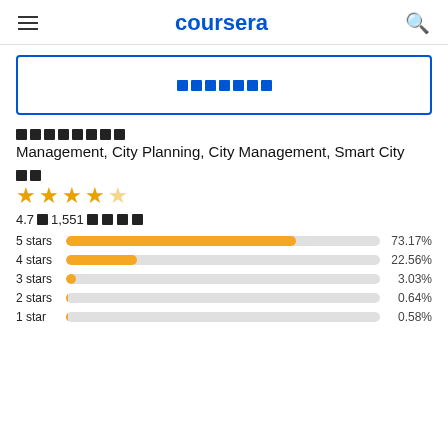coursera
[Figure (screenshot): Search box with placeholder text (encoded characters) inside a blue-bordered input field]
Management, City Planning, City Management, Smart City
[Figure (bar-chart): Ratings]